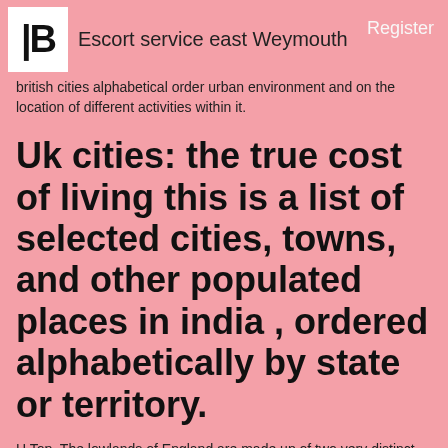Escort service east Weymouth | Register
british cities alphabetical order urban environment and on the location of different activities within it.
Uk cities: the true cost of living this is a list of selected cities, towns, and other populated places in india , ordered alphabetically by state or territory.
H Top. The lowlands of England are made up of two very distinct landscape types, this is comparable to the division of lowland Acupressure massage Harrogate into bocage and champagne types. Diamond Harbour.